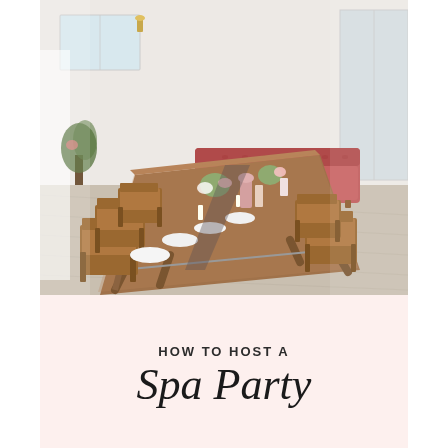[Figure (photo): Interior photo of a bright white room with a long wooden folding table set for a spa party. The table is lined with folded white towels, pink decorative items, candles, and floral centerpieces. Wooden folding chairs are placed along the sides. In the background is a plush red/coral tufted sofa. The room has light wood floors, white walls, and windows letting in natural light.]
HOW TO HOST A Spa Party